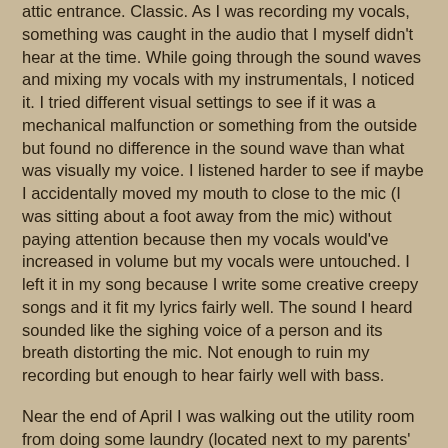attic entrance. Classic. As I was recording my vocals, something was caught in the audio that I myself didn't hear at the time. While going through the sound waves and mixing my vocals with my instrumentals, I noticed it. I tried different visual settings to see if it was a mechanical malfunction or something from the outside but found no difference in the sound wave than what was visually my voice. I listened harder to see if maybe I accidentally moved my mouth to close to the mic (I was sitting about a foot away from the mic) without paying attention because then my vocals would've increased in volume but my vocals were untouched. I left it in my song because I write some creative creepy songs and it fit my lyrics fairly well. The sound I heard sounded like the sighing voice of a person and its breath distorting the mic. Not enough to ruin my recording but enough to hear fairly well with bass.
Near the end of April I was walking out the utility room from doing some laundry (located next to my parents' room directly across the hall from my room) back to my room and I saw the back half of my dog, Kandi, standing just inside my door. As I slowly walked closer, I began hearing her growling softly and barking lightly under her breath. I figured she probably was just seeing a bug or a light from outside that might've came between the blinds of my bedroom window from a passing car or something but when I peeked in at the wall she was staring at, I saw nothing. She then